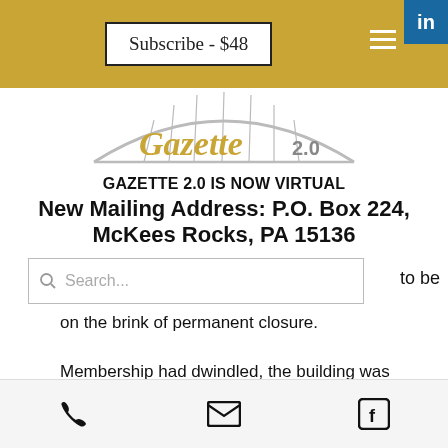Subscribe - $48
[Figure (logo): Gazette 2.0 logo with bridge arch graphic in silver/gold]
GAZETTE 2.0 IS NOW VIRTUAL
New Mailing Address: P.O. Box 224, McKees Rocks, PA 15136
to be on the brink of permanent closure.
Membership had dwindled, the building was getting shabby and the inventory was exhausted when Joe Bopp took over as legion commander around 2009.
Phone | Email | Facebook icons